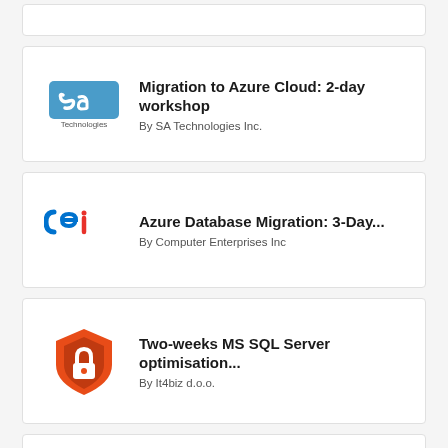[Figure (logo): Partial card at top (cropped)]
Migration to Azure Cloud: 2-day workshop
By SA Technologies Inc.
Azure Database Migration: 3-Day...
By Computer Enterprises Inc
Two-weeks MS SQL Server optimisation...
By It4biz d.o.o.
Azure Data Integration - 1 week assesement
By IWConnect